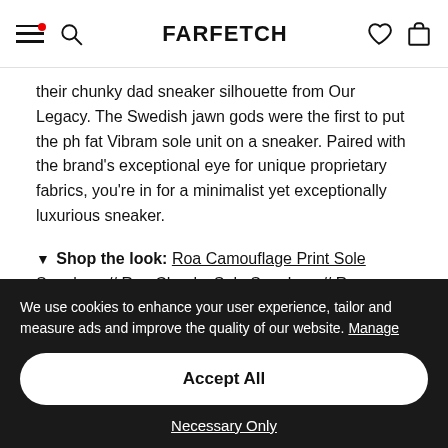FARFETCH
their chunky dad sneaker silhouette from Our Legacy. The Swedish jawn gods were the first to put the ph fat Vibram sole unit on a sneaker. Paired with the brand's exceptional eye for unique proprietary fabrics, you're in for a minimalist yet exceptionally luxurious sneaker.
▼ Shop the look: Roa Camouflage Print Sole Sneakers // Roa Chunky Sole Sneakers // Roa Oblique Hiking Sneakers
We use cookies to enhance your user experience, tailor and measure ads and improve the quality of our website. Manage
Accept All
Necessary Only